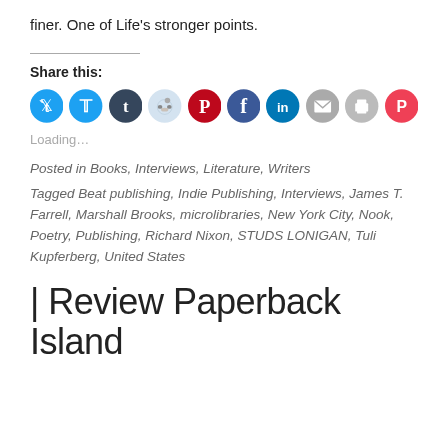finer. One of Life's stronger points.
Share this:
[Figure (other): Row of social sharing icon buttons: Twitter (blue), Tumblr (dark blue), Reddit (light blue/grey), Pinterest (red), Facebook (blue), LinkedIn (blue), Email (grey), Print (grey), Pocket (red)]
Loading…
Posted in Books, Interviews, Literature, Writers
Tagged Beat publishing, Indie Publishing, Interviews, James T. Farrell, Marshall Brooks, microlibraries, New York City, Nook, Poetry, Publishing, Richard Nixon, STUDS LONIGAN, Tuli Kupferberg, United States
| Review Paperback Island